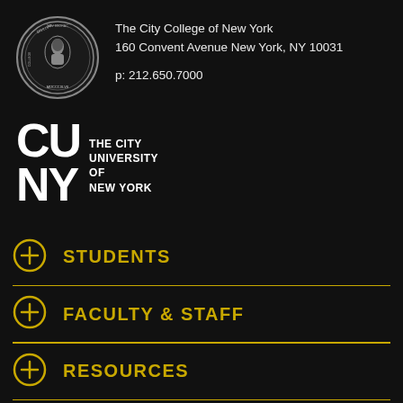[Figure (logo): City College of New York circular seal with figure and Latin text MDCCCXLVII]
The City College of New York
160 Convent Avenue New York, NY 10031

p: 212.650.7000
[Figure (logo): CUNY - The City University of New York logo in white]
STUDENTS
FACULTY & STAFF
RESOURCES
ACCESSIBILITY (partial)